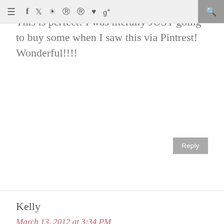≡  f  t  [camera]  [p]  [p]  ♥  g+  [search]
This is perfect! I was literally JUST going to buy some when I saw this via Pintrest! Wonderful!!!!
Reply
Kelly
March 13, 2012 at 3:34 PM
I made this in an old salsa jar that I apparently didn't let air out long enough. My goop smells like bad salsa and just about makes me gag when I use it. Luckily my project doesn't seem to retain the